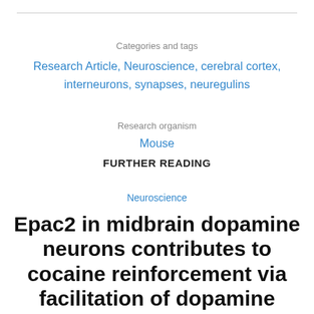Categories and tags
Research Article, Neuroscience, cerebral cortex, interneurons, synapses, neuregulins
Research organism
Mouse
FURTHER READING
Neuroscience
Epac2 in midbrain dopamine neurons contributes to cocaine reinforcement via facilitation of dopamine